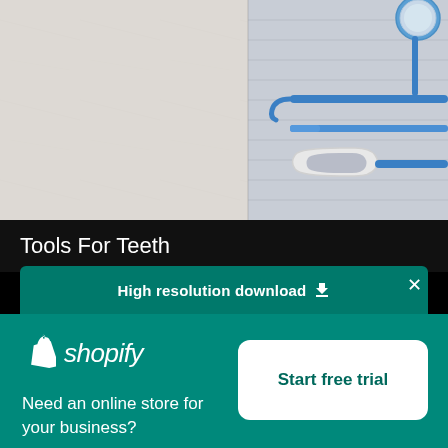[Figure (photo): Dental tools on a light marble/wood surface — includes a mirror, dental pick/hook, and tongue scraper with blue handles on the right side, white/marble background on the left.]
Tools For Teeth
High resolution download ↓
[Figure (logo): Shopify logo — white shopping bag icon with 'shopify' in white italic text]
Need an online store for your business?
Start free trial